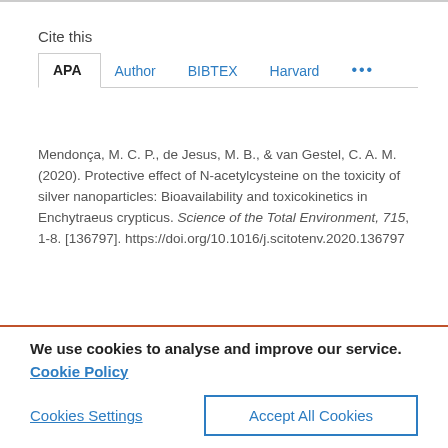Cite this
APA  Author  BIBTEX  Harvard  ...
Mendonça, M. C. P., de Jesus, M. B., & van Gestel, C. A. M. (2020). Protective effect of N-acetylcysteine on the toxicity of silver nanoparticles: Bioavailability and toxicokinetics in Enchytraeus crypticus. Science of the Total Environment, 715, 1-8. [136797]. https://doi.org/10.1016/j.scitotenv.2020.136797
We use cookies to analyse and improve our service. Cookie Policy
Cookies Settings
Accept All Cookies